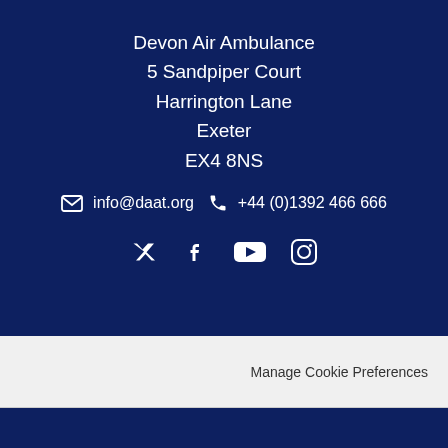Devon Air Ambulance
5 Sandpiper Court
Harrington Lane
Exeter
EX4 8NS
info@daat.org  +44 (0)1392 466 666
[Figure (infographic): Social media icons: Twitter/X, Facebook, YouTube, Instagram]
Manage Cookie Preferences